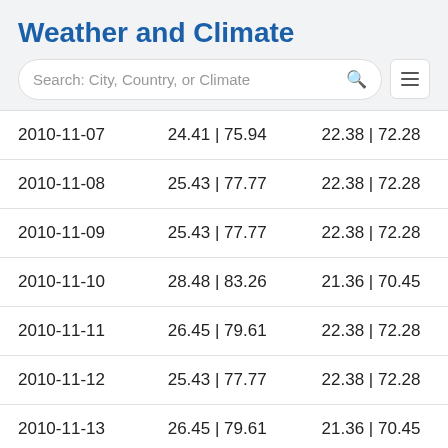Weather and Climate
[Figure (screenshot): Search bar with placeholder text 'Search: City, Country, or Climate' and a hamburger menu icon]
| 2010-11-07 | 24.41 | 75.94 | 22.38 | 72.28 |
| 2010-11-08 | 25.43 | 77.77 | 22.38 | 72.28 |
| 2010-11-09 | 25.43 | 77.77 | 22.38 | 72.28 |
| 2010-11-10 | 28.48 | 83.26 | 21.36 | 70.45 |
| 2010-11-11 | 26.45 | 79.61 | 22.38 | 72.28 |
| 2010-11-12 | 25.43 | 77.77 | 22.38 | 72.28 |
| 2010-11-13 | 26.45 | 79.61 | 21.36 | 70.45 |